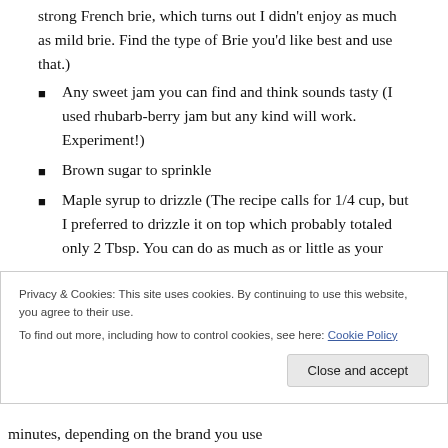strong French brie, which turns out I didn't enjoy as much as mild brie. Find the type of Brie you'd like best and use that.)
Any sweet jam you can find and think sounds tasty (I used rhubarb-berry jam but any kind will work. Experiment!)
Brown sugar to sprinkle
Maple syrup to drizzle (The recipe calls for 1/4 cup, but I preferred to drizzle it on top which probably totaled only 2 Tbsp. You can do as much as or little as your
Privacy & Cookies: This site uses cookies. By continuing to use this website, you agree to their use.
To find out more, including how to control cookies, see here: Cookie Policy
minutes, depending on the brand you use